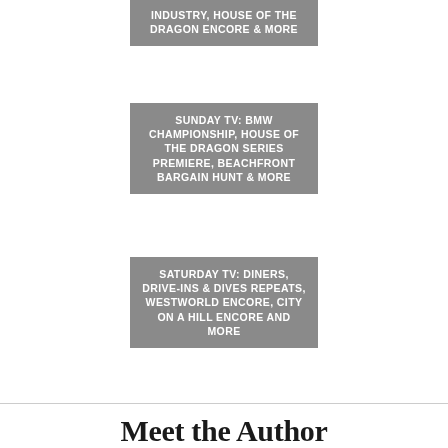[Figure (other): Grey card with white text reading: INDUSTRY, HOUSE OF THE DRAGON ENCORE & MORE]
[Figure (other): Grey card with white text reading: SUNDAY TV: BMW CHAMPIONSHIP, HOUSE OF THE DRAGON SERIES PREMIERE, BEACHFRONT BARGAIN HUNT & MORE]
[Figure (other): Grey card with white text reading: SATURDAY TV: DINERS, DRIVE-INS & DIVES REPEATS, WESTWORLD ENCORE, CITY ON A HILL ENCORE AND MORE]
Meet the Author